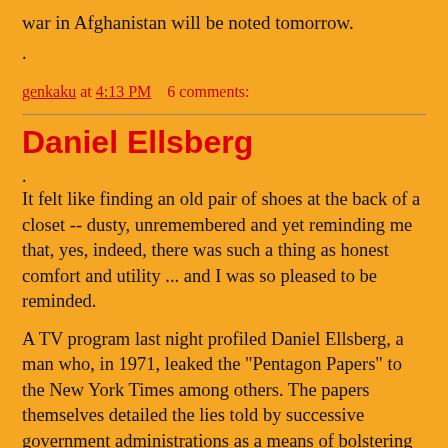war in Afghanistan will be noted tomorrow.
.
genkaku at 4:13 PM     6 comments:
Daniel Ellsberg
.
It felt like finding an old pair of shoes at the back of a closet -- dusty, unremembered and yet reminding me that, yes, indeed, there was such a thing as honest comfort and utility ... and I was so pleased to be reminded.
A TV program last night profiled Daniel Ellsberg, a man who, in 1971, leaked the "Pentagon Papers" to the New York Times among others. The papers themselves detailed the lies told by successive government administrations as a means of bolstering the Vietnam war in which 58,000 Americans and 2 million Vietnamese were killed.